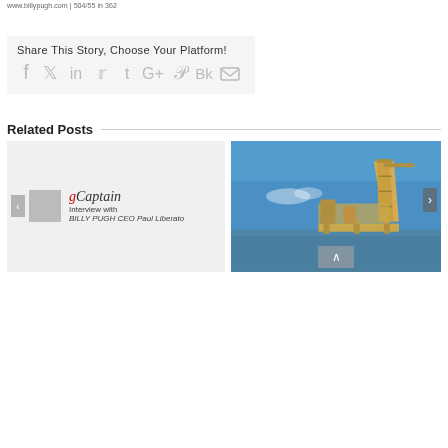www.billypugh.com | 504/55 in 362
Share This Story, Choose Your Platform!
[Figure (infographic): Social sharing icons: Facebook, Twitter, LinkedIn, Reddit, Tumblr, Google+, Pinterest, VK, Email]
Related Posts
[Figure (screenshot): gCaptain blog thumbnail showing 'Interview with BILLY PUGH CEO Paul Liberato' with left navigation arrow]
[Figure (photo): Photo of an offshore oil drilling rig platform against a blue sky, with a right navigation arrow and an up arrow button at the bottom]